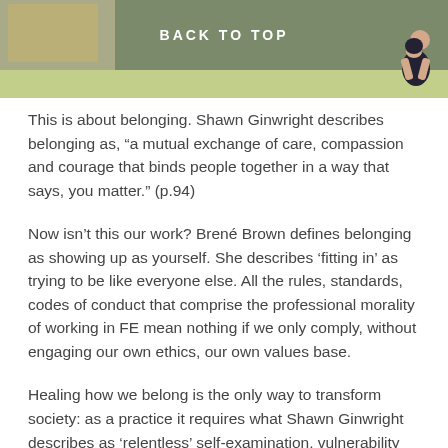BACK TO TOP
This is about belonging. Shawn Ginwright describes belonging as, “a mutual exchange of care, compassion and courage that binds people together in a way that says, you matter.” (p.94)
Now isn’t this our work? Brené Brown defines belonging as showing up as yourself. She describes ‘fitting in’ as trying to be like everyone else. All the rules, standards, codes of conduct that comprise the professional morality of working in FE mean nothing if we only comply, without engaging our own ethics, our own values base.
Healing how we belong is the only way to transform society: as a practice it requires what Shawn Ginwright describes as ‘relentless’ self-examination, vulnerability and self-awareness. How do we stay present with people who